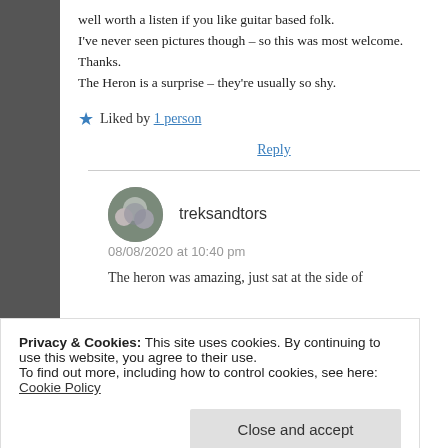well worth a listen if you like guitar based folk.
I've never seen pictures though – so this was most welcome. Thanks.
The Heron is a surprise – they're usually so shy.
Liked by 1 person
Reply
treksandtors
08/08/2020 at 10:40 pm
The heron was amazing, just sat at the side of
Privacy & Cookies: This site uses cookies. By continuing to use this website, you agree to their use.
To find out more, including how to control cookies, see here: Cookie Policy
Close and accept